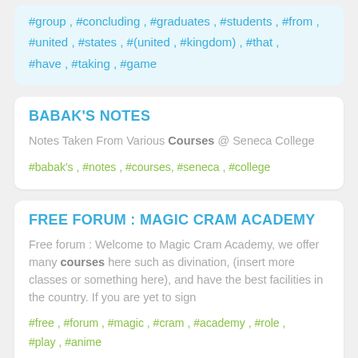#group , #concluding , #graduates , #students , #from , #united , #states , #(united , #kingdom) , #that , #have , #taking , #game
BABAK'S NOTES
Notes Taken From Various Courses @ Seneca College
#babak's , #notes , #courses, #seneca , #college
FREE FORUM : MAGIC CRAM ACADEMY
Free forum : Welcome to Magic Cram Academy, we offer many courses here such as divination, (insert more classes or something here), and have the best facilities in the country. If you are yet to sign
#free , #forum , #magic , #cram , #academy , #role , #play , #anime